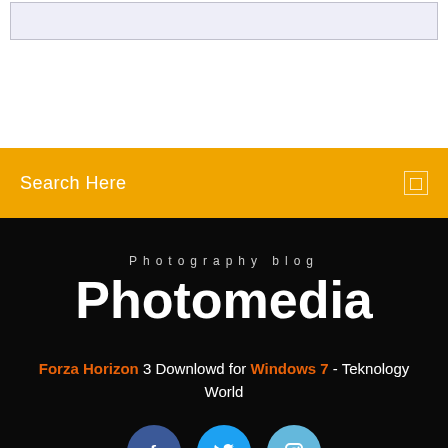[Figure (screenshot): Top section with a light lavender/white search input box outline]
Search Here
Photography blog
Photomedia
Forza Horizon 3 Downlowd for Windows 7 - Teknology World
[Figure (illustration): Social media icons: Facebook (dark blue circle), Twitter (blue circle), Instagram (light blue circle)]